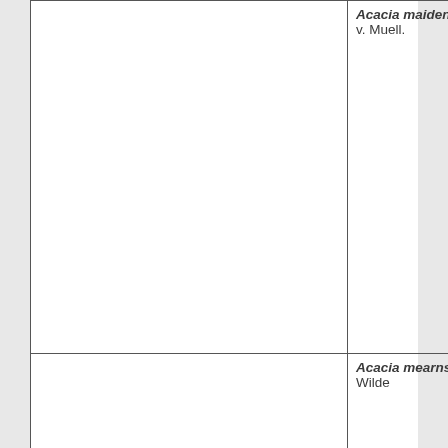|  | Acacia maidenii F. v. Muell. |
|  | Acacia mearnsii Wilde |
|  | Acacia melanoxylon R. Br. |
|  | Acacia myrtifolia Will |